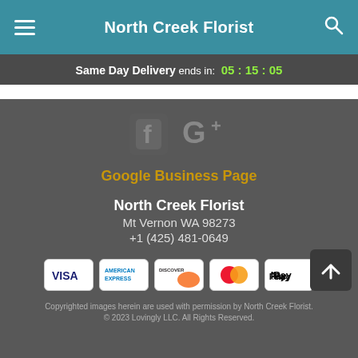North Creek Florist
Same Day Delivery ends in: 05 : 15 : 05
[Figure (logo): Facebook and Google+ social media icons]
Google Business Page
North Creek Florist
Mt Vernon WA 98273
+1 (425) 481-0649
[Figure (other): Payment method icons: Visa, American Express, Discover, Mastercard, Apple Pay]
Copyrighted images herein are used with permission by North Creek Florist.
© 2023 Lovingly LLC. All Rights Reserved.